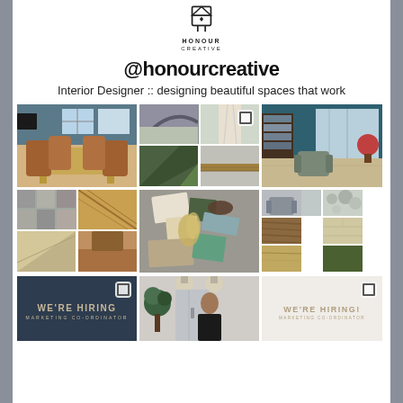[Figure (logo): Honour Creative logo with geometric diamond/house icon above text]
@honourcreative
Interior Designer :: designing beautiful spaces that work
[Figure (photo): Instagram grid of 9 images showing interior design work: dining rooms, material swatches, mood boards, hiring announcements for marketing coordinator]
WE'RE HIRING MARKETING CO-ORDINATOR
WE'RE HIRING! MARKETING CO-ORDINATOR